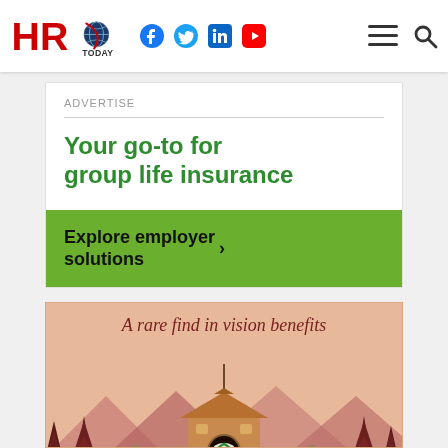HRO Today — navigation bar with social icons (Facebook, Twitter, LinkedIn, YouTube), hamburger menu, and search icon
ADVERTISE
Your go-to for group life insurance
Explore employer solutions ›
[Figure (illustration): Advertisement illustration for vision benefits showing birdhouses with decorated central birdhouse featuring eye/vision logo, surrounded by dark pine trees and purple mountains on a peach/salmon background. Text reads 'A rare find in vision benefits'.]